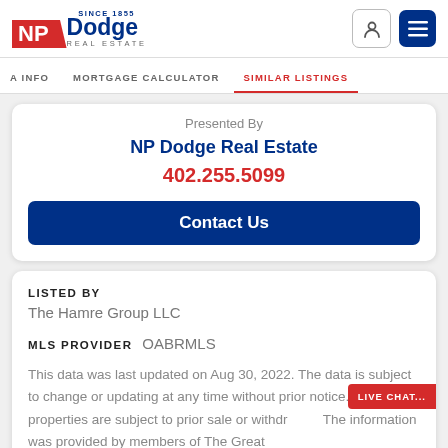[Figure (logo): NP Dodge Real Estate logo with red and blue branding]
A INFO   MORTGAGE CALCULATOR   SIMILAR LISTINGS
Presented By
NP Dodge Real Estate
402.255.5099
Contact Us
LISTED BY
The Hamre Group LLC
MLS PROVIDER   OABRMLS
This data was last updated on Aug 30, 2022. The data is subject to change or updating at any time without prior notice. All properties are subject to prior sale or withdr... The information was provided by members of The Great